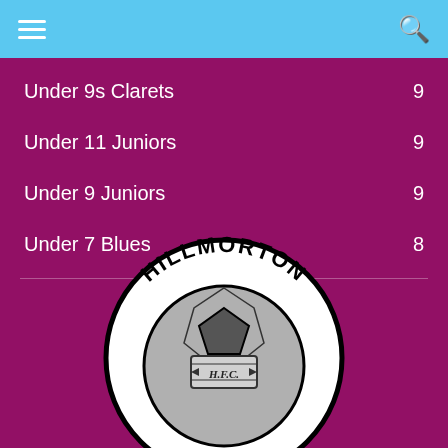Hillmorton HFC navigation header
Under 9s Clarets 9
Under 11 Juniors 9
Under 9 Juniors 9
Under 7 Blues 8
[Figure (logo): Hillmorton H.F.C. circular club crest with football and text HILLMORTON around the top arc and H.F.C. on a banner across the football]